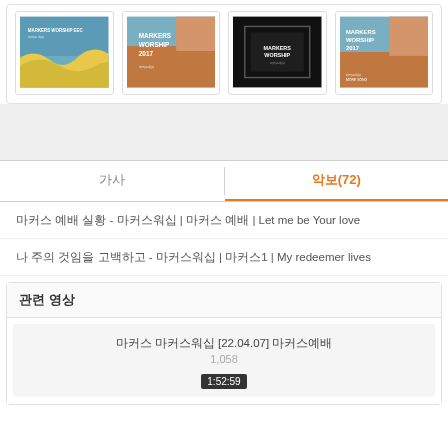[Figure (illustration): Four album cover cards in a row: (1) blue/yellow wave design with Korean text and 'MARKERS WORSHIP' label, (2) brown/blue with 'MARKERS WORSHIP 2017' text in white, (3) dark/black with 'MARKERS WORSHIP' text, (4) blue/orange with 'MARKERS WORSHIP 2017' and Korean text.]
가사
악보(72)
마커스 예배 실황 - 마커스워십 | 마커스 예배 | Let me be Your love
나 주의 것임을 고백하고 - 마커스워십 | 마커스1 | My redeemer lives
관련 영상
마커스 마커스워십 [22.04.07] 마커스예배
1,058
1:52:59